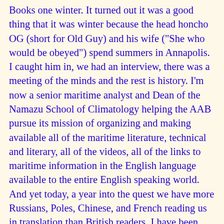Books one winter. It turned out it was a good thing that it was winter because the head honcho OG (short for Old Guy) and his wife ("She who would be obeyed") spend summers in Annapolis. I caught him in, we had an interview, there was a meeting of the minds and the rest is history. I'm now a senior maritime analyst and Dean of the Namazu School of Climatology helping the AAB pursue its mission of organizing and making available all of the maritime literature, technical and literary, all of the videos, all of the links to maritime information in the English language available to the entire English speaking world. And yet today, a year into the quest we have more Russians, Poles, Chinese, and French reading us in translation than British readers. I have been addressing "the English speaking bipeds" for over a year now on naval. coast guard, and merchant marine subjects, on national policies for the maritime sector, often speaking directly to Britain, Australia, New Zealand, Belize, Bermuda, the Bahamas, and South Africa. But in fact you haven't been reading my irreplaceable wisdom. I have been trying to tell you the truth about climate change and what should really be done about it. I've described how the English speaking world is being hemmed in by growing naval powers while English speaking naval power is shrinking, and what to do about it. I have described the common sense solution to so many